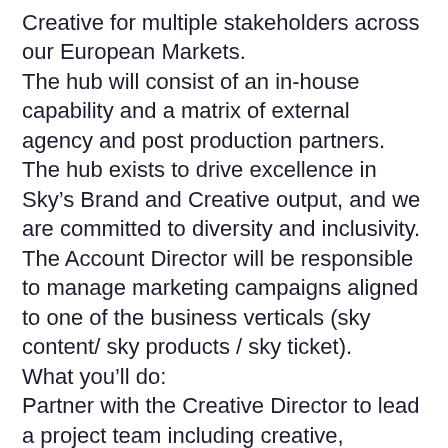Creative for multiple stakeholders across our European Markets.
The hub will consist of an in-house capability and a matrix of external agency and post production partners.
The hub exists to drive excellence in Sky’s Brand and Creative output, and we are committed to diversity and inclusivity.
The Account Director will be responsible to manage marketing campaigns aligned to one of the business verticals (sky content/ sky products / sky ticket).
What you’ll do:
Partner with the Creative Director to lead a project team including creative, production and strategy to deliver effective advertising campaigns
Ensure clear client briefs are received on time and